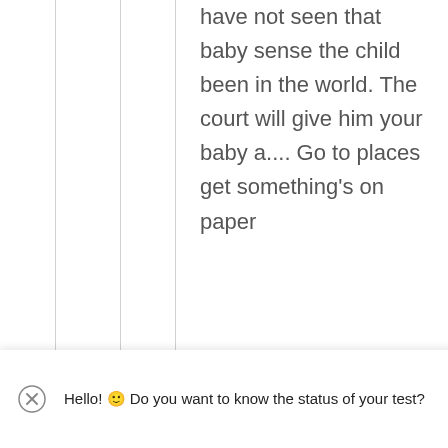have not seen that baby sense the child been in the world. The court will give him your baby a.... Go to places get something's on paper
Hello! 🙂 Do you want to know the status of your test?